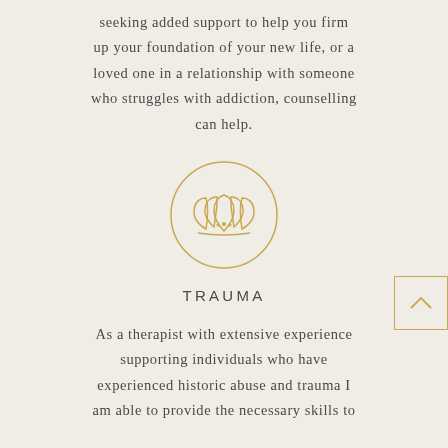seeking added support to help you firm up your foundation of your new life, or a loved one in a relationship with someone who struggles with addiction, counselling can help.
[Figure (illustration): A circular golden outline icon featuring a lotus flower / leaf motif in gold/amber color on a warm beige background.]
TRAUMA
As a therapist with extensive experience supporting individuals who have experienced historic abuse and trauma I am able to provide the necessary skills to